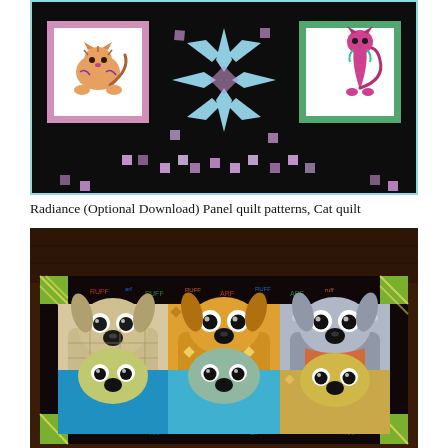[Figure (photo): Cat quilt with black background, star pattern in center, two framed cat panels on sides, pink/purple scattered squares]
Radiance (Optional Download) Panel quilt patterns, Cat quilt
[Figure (photo): Dog quilt with colorful fabric featuring cartoon dogs with big eyes arranged in rows, dark background with text print fabric borders]